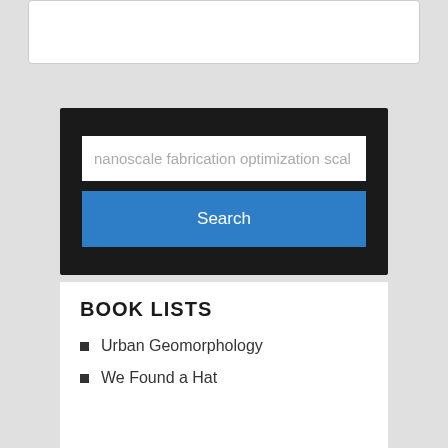[Figure (screenshot): Top portion of a white card/box partially visible at the top of the page]
[Figure (screenshot): Search widget with dark background containing a text input field showing 'nanoscale fabrication optimization scal' and a blue Search button]
BOOK LISTS
Urban Geomorphology
We Found a Hat